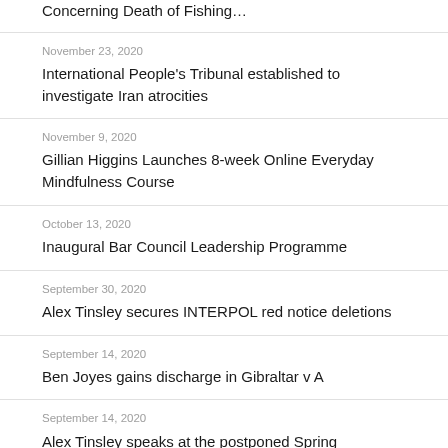Concerning Death of Fishing…
November 23, 2020
International People's Tribunal established to investigate Iran atrocities
November 9, 2020
Gillian Higgins Launches 8-week Online Everyday Mindfulness Course
October 13, 2020
Inaugural Bar Council Leadership Programme
September 30, 2020
Alex Tinsley secures INTERPOL red notice deletions
September 14, 2020
Ben Joyes gains discharge in Gibraltar v A
September 14, 2020
Alex Tinsley speaks at the postponed Spring conference of the European Criminal Bar Associ…